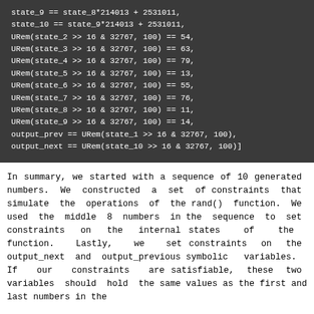state_9 == state_8*214013 + 2531011,
state_10 == state_9*214013 + 2531011,
URem(state_2 >> 16 & 32767, 100) == 54,
URem(state_3 >> 16 & 32767, 100) == 63,
URem(state_4 >> 16 & 32767, 100) == 79,
URem(state_5 >> 16 & 32767, 100) == 13,
URem(state_6 >> 16 & 32767, 100) == 55,
URem(state_7 >> 16 & 32767, 100) == 76,
URem(state_8 >> 16 & 32767, 100) == 11,
URem(state_9 >> 16 & 32767, 100) == 14,
output_prev == URem(state_1 >> 16 & 32767, 100),
output_next == URem(state_10 >> 16 & 32767, 100)]
In summary, we started with a sequence of 10 generated numbers. We constructed a set of constraints that simulate the operations of the rand() function. We used the middle 8 numbers in the sequence to set constraints on the internal states of the function. Lastly, we set constraints on the output_next and output_previous symbolic variables. If our constraints are satisfiable, these two variables should hold the same values as the first and last numbers in the